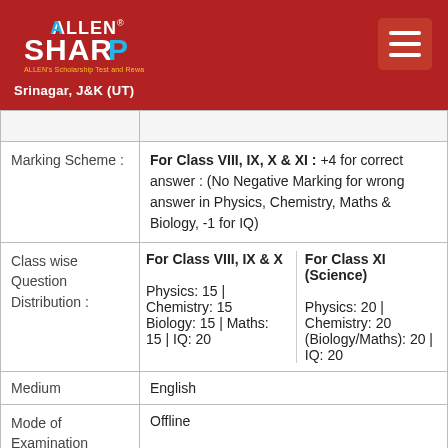ALLEN SHARP – Srinagar, J&K (UT)
|  |  |
| --- | --- |
| Marking Scheme : | For Class VIII, IX, X & XI : +4 for correct answer : (No Negative Marking for wrong answer in Physics, Chemistry, Maths & Biology, -1 for IQ) |
| Class wise Question Distribution : | For Class VIII, IX & X: Physics: 15 | Chemistry: 15 Biology: 15 | Maths: 15 | IQ: 20 | For Class XI (Science) Physics: 20 | Chemistry: 20 (Biology/Maths): 20 | IQ: 20 |
| Medium | English |
| Mode of Examination | Offline |
| Duration of Exam | Duration : 2 Hours. |